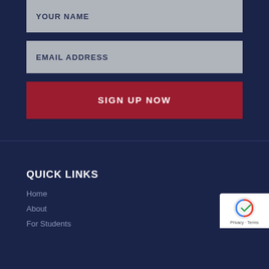YOUR NAME
EMAIL ADDRESS
SIGN UP NOW
QUICK LINKS
Home
About
For Students